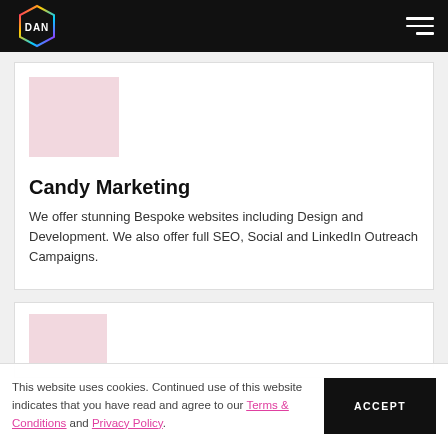[Figure (logo): DAN logo in a hexagonal border with multicolor gradient outline on black background, with hamburger menu icon]
[Figure (photo): Pink/mauve placeholder image block for Candy Marketing card]
Candy Marketing
We offer stunning Bespoke websites including Design and Development. We also offer full SEO, Social and LinkedIn Outreach Campaigns.
[Figure (photo): Pink/mauve placeholder image block for second card]
This website uses cookies. Continued use of this website indicates that you have read and agree to our Terms & Conditions and Privacy Policy.